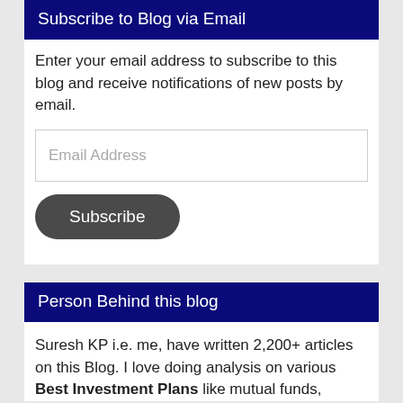Subscribe to Blog via Email
Enter your email address to subscribe to this blog and receive notifications of new posts by email.
[Figure (other): Email Address input field with placeholder text]
[Figure (other): Subscribe button with dark rounded style]
Person Behind this blog
Suresh KP i.e. me, have written 2,200+ articles on this Blog. I love doing analysis on various Best Investment Plans like mutual funds,